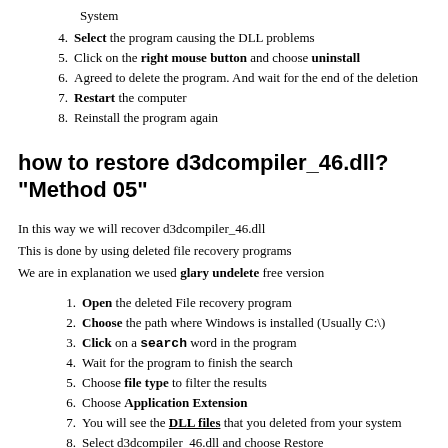System
Select the program causing the DLL problems
Click on the right mouse button and choose uninstall
Agreed to delete the program. And wait for the end of the deletion
Restart the computer
Reinstall the program again
how to restore d3dcompiler_46.dll? "Method 05"
In this way we will recover d3dcompiler_46.dll
This is done by using deleted file recovery programs
We are in explanation we used glary undelete free version
Open the deleted File recovery program
Choose the path where Windows is installed (Usually C:\)
Click on a search word in the program
Wait for the program to finish the search
Choose file type to filter the results
Choose Application Extension
You will see the DLL files that you deleted from your system
Select d3dcompiler_46.dll and choose Restore